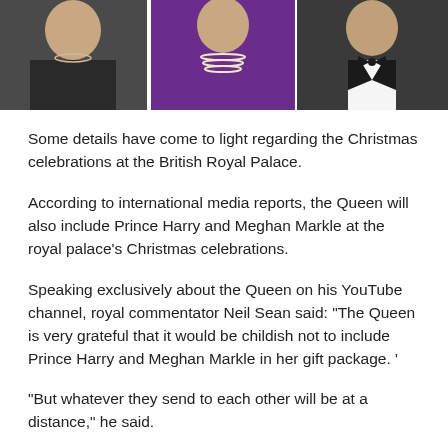[Figure (photo): Three-panel photo strip showing partial portraits of three people: left panel shows a person in dark clothing with a necklace, center panel shows a person in purple top with pearl necklace, right panel shows a person in formal wear with black bow tie.]
Some details have come to light regarding the Christmas celebrations at the British Royal Palace.
According to international media reports, the Queen will also include Prince Harry and Meghan Markle at the royal palace’s Christmas celebrations.
Speaking exclusively about the Queen on his YouTube channel, royal commentator Neil Sean said: “The Queen is very grateful that it would be childish not to include Prince Harry and Meghan Markle in her gift package.’
“But whatever they send to each other will be at a distance,” he said.
The royal observer says that “Harry and Meghan will be given some presents by the queen but it will be in a very formal way”.